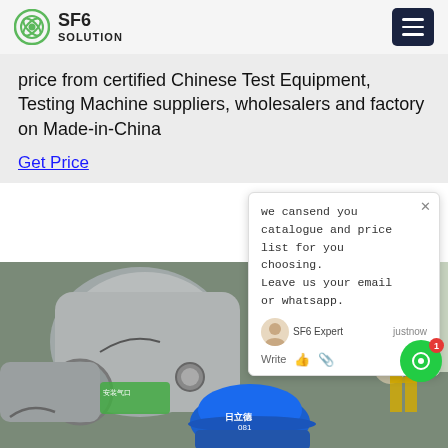SF6 SOLUTION
price from certified Chinese Test Equipment, Testing Machine suppliers, wholesalers and factory on Made-in-China
Get Price
we cansend you catalogue and price list for you choosing.
Leave us your email or whatsapp.
SF6 Expert  justnow
Write
[Figure (photo): Worker in blue hard hat (text: 日立德 081) working on large industrial SF6 gas equipment/pipes outdoors at an electrical substation. Equipment shows flanged pipes and a green label. Background shows trees and yellow ladder structure.]